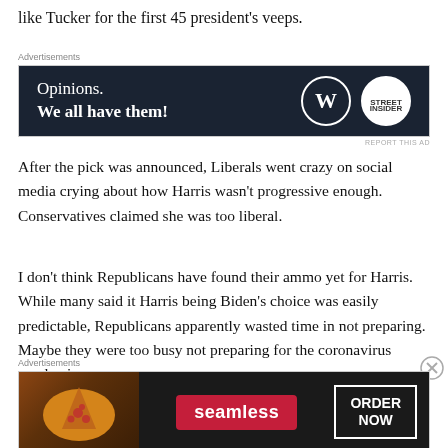like Tucker for the first 45 president's veeps.
[Figure (other): Advertisement banner: WordPress 'Opinions. We all have them!' ad with WordPress logo and secondary logo on dark navy background.]
After the pick was announced, Liberals went crazy on social media crying about how Harris wasn't progressive enough. Conservatives claimed she was too liberal.
I don't think Republicans have found their ammo yet for Harris. While many said it Harris being Biden's choice was easily predictable, Republicans apparently wasted time in not preparing. Maybe they were too busy not preparing for the coronavirus pandemic.
[Figure (other): Advertisement banner: Seamless food delivery 'ORDER NOW' ad with pizza image on dark background.]